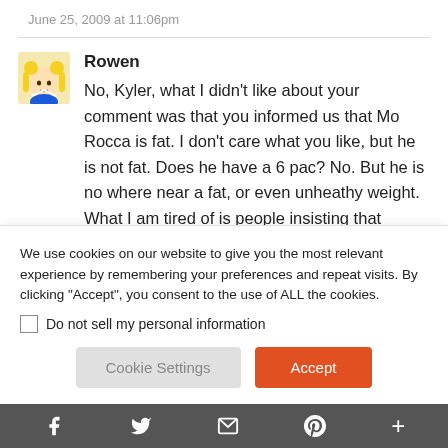June 25, 2009 at 11:06pm
Rowen
No, Kyler, what I didn't like about your comment was that you informed us that Mo Rocca is fat. I don't care what you like, but he is not fat. Does he have a 6 pac? No. But he is no where near a fat, or even unheathy weight. What I am tired of is people insisting that everyone has a 6 pac, and then when you don't, you get called fat, unhealthy, a slob, “why
We use cookies on our website to give you the most relevant experience by remembering your preferences and repeat visits. By clicking “Accept”, you consent to the use of ALL the cookies.
Do not sell my personal information
f  🐦  ✉  p  +